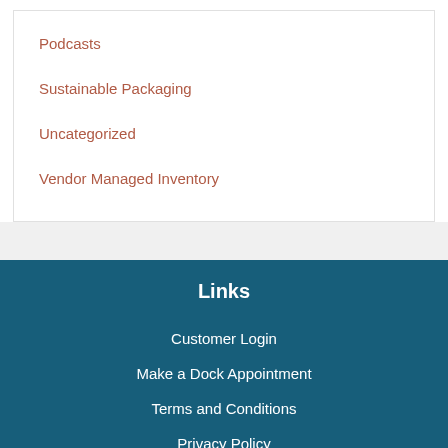Podcasts
Sustainable Packaging
Uncategorized
Vendor Managed Inventory
Links
Customer Login
Make a Dock Appointment
Terms and Conditions
Privacy Policy
Careers